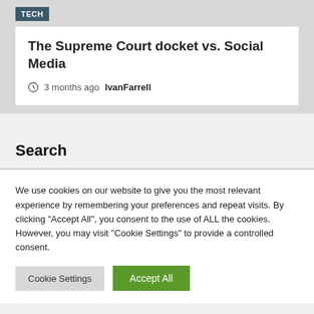TECH
The Supreme Court docket vs. Social Media
3 months ago  IvanFarrell
Search
We use cookies on our website to give you the most relevant experience by remembering your preferences and repeat visits. By clicking "Accept All", you consent to the use of ALL the cookies. However, you may visit "Cookie Settings" to provide a controlled consent.
Cookie Settings   Accept All